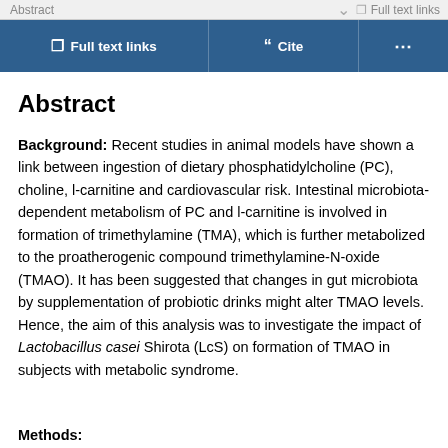Abstract | Full text links
Full text links | Cite | ...
Abstract
Background: Recent studies in animal models have shown a link between ingestion of dietary phosphatidylcholine (PC), choline, l-carnitine and cardiovascular risk. Intestinal microbiota-dependent metabolism of PC and l-carnitine is involved in formation of trimethylamine (TMA), which is further metabolized to the proatherogenic compound trimethylamine-N-oxide (TMAO). It has been suggested that changes in gut microbiota by supplementation of probiotic drinks might alter TMAO levels. Hence, the aim of this analysis was to investigate the impact of Lactobacillus casei Shirota (LcS) on formation of TMAO in subjects with metabolic syndrome.
Methods: